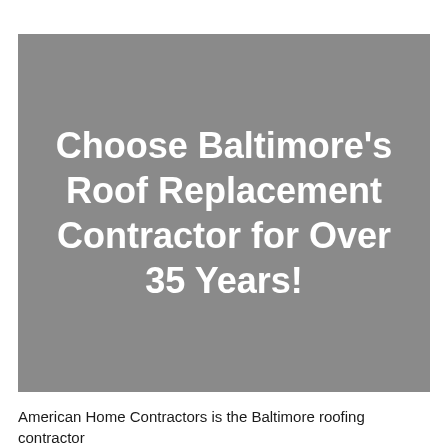[Figure (illustration): Gray rectangular banner image with white bold text reading: Choose Baltimore's Roof Replacement Contractor for Over 35 Years!]
American Home Contractors is the Baltimore roofing contractor